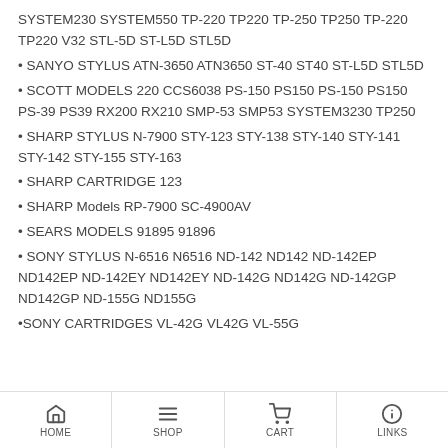SYSTEM230 SYSTEM550 TP-220 TP220 TP-250 TP250 TP-220 TP220 V32 STL-5D ST-L5D STL5D
SANYO STYLUS ATN-3650 ATN3650 ST-40 ST40 ST-L5D STL5D
SCOTT MODELS 220 CCS6038 PS-150 PS150 PS-150 PS150 PS-39 PS39 RX200 RX210 SMP-53 SMP53 SYSTEM3230 TP250
SHARP STYLUS N-7900 STY-123 STY-138 STY-140 STY-141 STY-142 STY-155 STY-163
SHARP CARTRIDGE 123
SHARP Models RP-7900 SC-4900AV
SEARS MODELS 91895 91896
SONY STYLUS N-6516 N6516 ND-142 ND142 ND-142EP ND142EP ND-142EY ND142EY ND-142G ND142G ND-142GP ND142GP ND-155G ND155G
SONY CARTRIDGES VL-42G VL42G VL-55G
HOME  SHOP  CART  LINKS